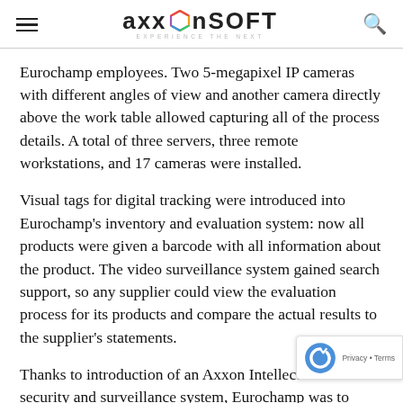AxxonSoft — Experience the Next
Eurochamp employees. Two 5-megapixel IP cameras with different angles of view and another camera directly above the work table allowed capturing all of the process details. A total of three servers, three remote workstations, and 17 cameras were installed.
Visual tags for digital tracking were introduced into Eurochamp's inventory and evaluation system: now all products were given a barcode with all information about the product. The video surveillance system gained search support, so any supplier could view the evaluation process for its products and compare the actual results to the supplier's statements.
Thanks to introduction of an Axxon Intellect-based security and surveillance system, Eurochamp was to substantially upgrade its quality evaluation syste smooth its supplier relationships, and make its tra and pricing more transparent.